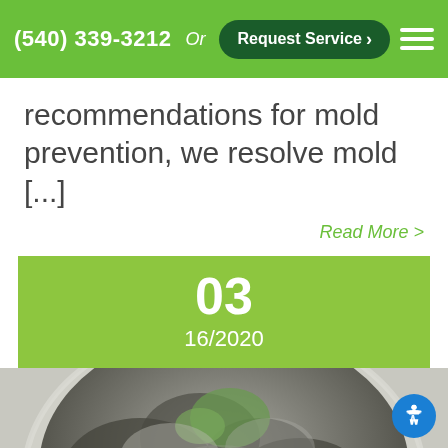(540) 339-3212  Or  Request Service >
recommendations for mold prevention, we resolve mold [...]
Read More >
03
16/2020
[Figure (photo): Close-up photo of mold growing on a surface in a petri dish or container, showing dark grey and green mold colonies]